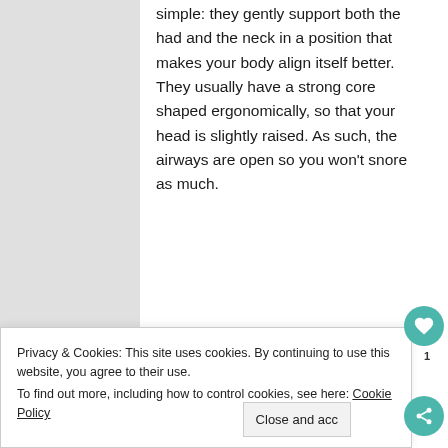simple: they gently support both the had and the neck in a position that makes your body align itself better. They usually have a strong core shaped ergonomically, so that your head is slightly raised. As such, the airways are open so you won't snore as much.
Privacy & Cookies: This site uses cookies. By continuing to use this website, you agree to their use. To find out more, including how to control cookies, see here: Cookie Policy
Close and acc
Mouth piece.